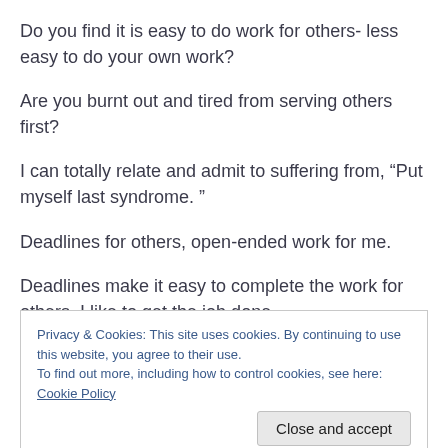Do you find it is easy to do work for others- less easy to do your own work?
Are you burnt out and tired from serving others first?
I can totally relate and admit to suffering from, “Put myself last syndrome. ”
Deadlines for others, open-ended work for me.
Deadlines make it easy to complete the work for others. I like to get the job done.
Privacy & Cookies: This site uses cookies. By continuing to use this website, you agree to their use.
To find out more, including how to control cookies, see here: Cookie Policy
my kids. Sound familiar?